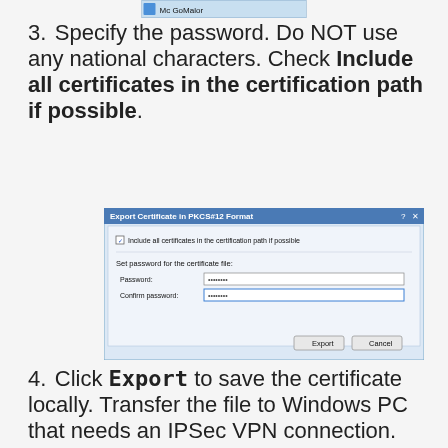[Figure (screenshot): Top portion of a Windows dialog or file manager showing a selected item labeled 'Mc GoMalor']
3. Specify the password. Do NOT use any national characters. Check Include all certificates in the certification path if possible.
[Figure (screenshot): Export Certificate in PKCS#12 Format dialog showing: checkbox 'Include all certificates in the certification path if possible', 'Set password for the certificate file', Password field with dots, Confirm password field with dots, Export and Cancel buttons]
4. Click Export to save the certificate locally. Transfer the file to Windows PC that needs an IPSec VPN connection.
Import certificate into Windows